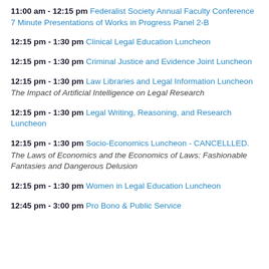11:00 am - 12:15 pm Federalist Society Annual Faculty Conference 7 Minute Presentations of Works in Progress Panel 2-B
12:15 pm - 1:30 pm Clinical Legal Education Luncheon
12:15 pm - 1:30 pm Criminal Justice and Evidence Joint Luncheon
12:15 pm - 1:30 pm Law Libraries and Legal Information Luncheon
The Impact of Artificial Intelligence on Legal Research
12:15 pm - 1:30 pm Legal Writing, Reasoning, and Research Luncheon
12:15 pm - 1:30 pm Socio-Economics Luncheon - CANCELLLED.
The Laws of Economics and the Economics of Laws: Fashionable Fantasies and Dangerous Delusion
12:15 pm - 1:30 pm Women in Legal Education Luncheon
12:45 pm - 3:00 pm Pro Bono & Public Service